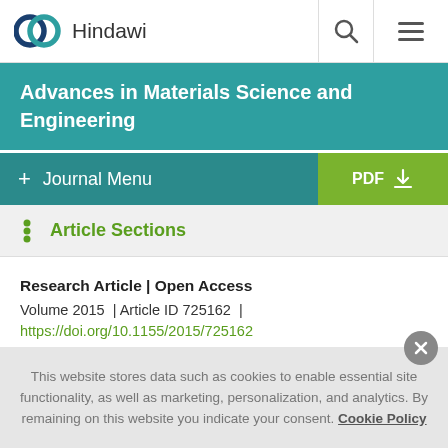[Figure (logo): Hindawi publisher logo with two overlapping circles (teal and dark blue) and the text 'Hindawi']
Advances in Materials Science and Engineering
+ Journal Menu | PDF ↓
Article Sections
Research Article | Open Access
Volume 2015 | Article ID 725162 |
https://doi.org/10.1155/2015/725162
This website stores data such as cookies to enable essential site functionality, as well as marketing, personalization, and analytics. By remaining on this website you indicate your consent. Cookie Policy